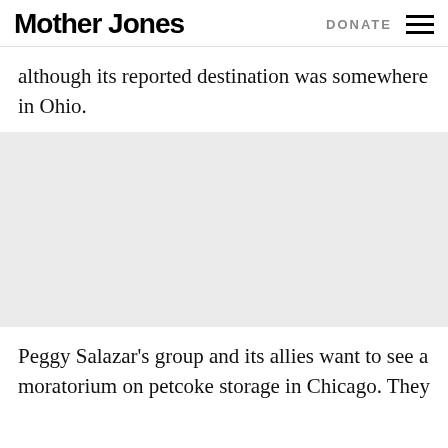Mother Jones | DONATE
although its reported destination was somewhere in Ohio.
[Figure (photo): A light gray placeholder image area, likely replacing a photo or advertisement]
Peggy Salazar's group and its allies want to see a moratorium on petcoke storage in Chicago. They